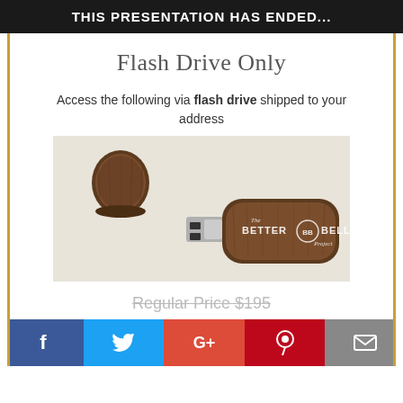THIS PRESENTATION HAS ENDED...
Flash Drive Only
Access the following via flash drive shipped to your address
[Figure (photo): Wooden USB flash drive with 'The Better Belly Project' branding, shown open with cap removed]
Regular Price $195